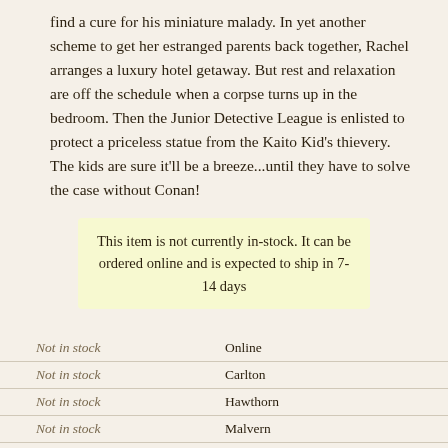find a cure for his miniature malady. In yet another scheme to get her estranged parents back together, Rachel arranges a luxury hotel getaway. But rest and relaxation are off the schedule when a corpse turns up in the bedroom. Then the Junior Detective League is enlisted to protect a priceless statue from the Kaito Kid's thievery. The kids are sure it'll be a breeze...until they have to solve the case without Conan!
This item is not currently in-stock. It can be ordered online and is expected to ship in 7-14 days
| Status | Location |
| --- | --- |
| Not in stock | Online |
| Not in stock | Carlton |
| Not in stock | Hawthorn |
| Not in stock | Malvern |
| Not in stock | St Kilda |
| Not in stock | State Library |
| Not in stock | Doncaster |
| Not in stock | Readings Kids |
| Not in stock | Emporium |